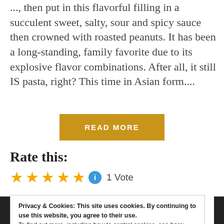..., then put in this flavorful filling in a succulent sweet, salty, sour and spicy sauce then crowned with roasted peanuts. It has been a long-standing, family favorite due to its explosive flavor combinations. After all, it still IS pasta, right? This time in Asian form....
READ MORE
Rate this:
★★★★★ ℹ 1 Vote
Privacy & Cookies: This site uses cookies. By continuing to use this website, you agree to their use.
To find out more, including how to control cookies, see here: Cookie Policy
Close and accept